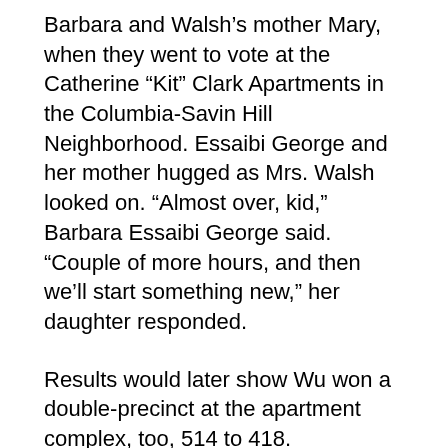Barbara and Walsh’s mother Mary, when they went to vote at the Catherine “Kit” Clark Apartments in the Columbia-Savin Hill Neighborhood. Essaibi George and her mother hugged as Mrs. Walsh looked on. “Almost over, kid,” Barbara Essaibi George said. “Couple of more hours, and then we’ll start something new,” her daughter responded.
Results would later show Wu won a double-precinct at the apartment complex, too, 514 to 418.
Essaibi George told the Reporter that Secretary Walsh sent her a message on Monday, wishing her luck. Walsh did not formally endorse a candidate in the race, citing a rule prohibiting federal officials from engaging in politics.
As in 2013, the last wide-open race for mayor, outside groups poured millions of dollars into the